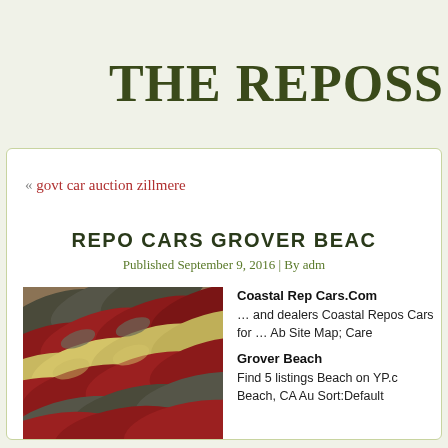The Reposs
« govt car auction zillmere
REPO CARS GROVER BEAC
Published September 9, 2016 | By adm
[Figure (photo): Rows of vintage/classic cars parked closely together, showing rooftops and rear sections in red, cream, and gray tones]
Coastal Rep Cars.Com … and dealers Coastal Repos Cars for … Ab Site Map; Care
Grover Beach Find 5 listings Beach on YP.c Beach, CA Au Sort:Default